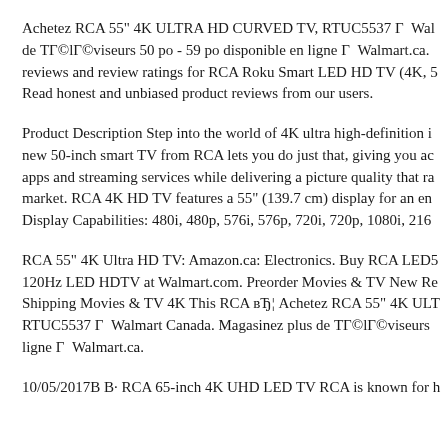Achetez RCA 55" 4K ULTRA HD CURVED TV, RTUC5537 Г  Wal de ТГ©lГ©viseurs 50 po - 59 po disponible en ligne Г  Walmart.ca. reviews and review ratings for RCA Roku Smart LED HD TV (4K, 5 Read honest and unbiased product reviews from our users.
Product Description Step into the world of 4K ultra high-definition i new 50-inch smart TV from RCA lets you do just that, giving you ac apps and streaming services while delivering a picture quality that ra market. RCA 4K HD TV features a 55" (139.7 cm) display for an en Display Capabilities: 480i, 480p, 576i, 576p, 720i, 720p, 1080i, 216
RCA 55" 4K Ultra HD TV: Amazon.ca: Electronics. Buy RCA LED5 120Hz LED HDTV at Walmart.com. Preorder Movies & TV New Re Shipping Movies & TV 4K This RCA вЂ¦ Achetez RCA 55" 4K ULT RTUC5537 Г  Walmart Canada. Magasinez plus de ТГ©lГ©viseurs ligne Г  Walmart.ca.
10/05/2017В В· RCA 65-inch 4K UHD LED TV RCA is known for h